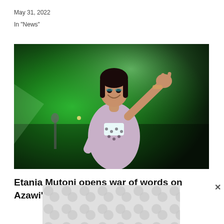May 31, 2022
In "News"
[Figure (photo): A young woman performing on stage, smiling, wearing a patterned jacket and white crop top, making a peace sign with her hand. The background shows green stage lighting.]
Etania Mutoni opens war of words on Azawi's manager Jaylor Birungi
[Figure (other): Advertisement banner with grey dot/bubble pattern background.]